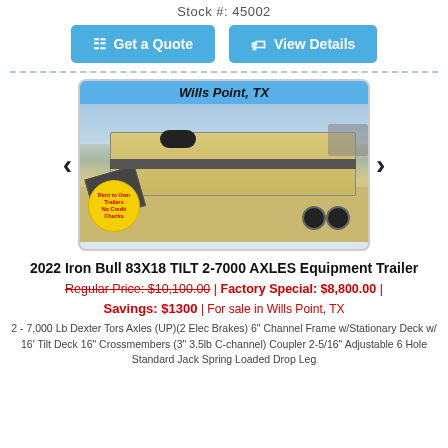Stock #: 45002
Get a Quote | View Details
[Figure (photo): Photo of a 2022 Iron Bull 83X18 tilt equipment trailer at Wills Point, TX dealer lot. Yellow 'Rent to Own Trailers No Credit Checks' badge visible in lower left. Image shows trailer with wood deck and metal ramp, parked on concrete.]
2022 Iron Bull 83X18 TILT 2-7000 AXLES Equipment Trailer
Regular Price: $10,100.00 | Factory Special: $8,800.00 | Savings: $1300 | For sale in Wills Point, TX
2 - 7,000 Lb Dexter Tors Axles (UP)(2 Elec Brakes) 6" Channel Frame w/Stationary Deck w/ 16' Tilt Deck 16" Crossmembers (3" 3.5lb C-channel) Coupler 2-5/16" Adjustable 6 Hole Standard Jack Spring Loaded Drop Leg